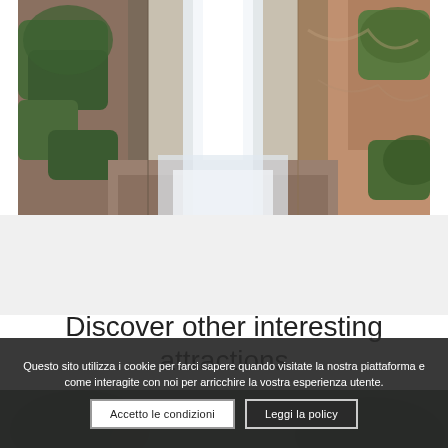[Figure (photo): A tall waterfall cascading down rocky cliffs surrounded by green shrubs and reddish-brown rock faces.]
Discover other interesting attractions
[Figure (photo): Bottom partial view of a dark outdoor photo with greenery.]
Questo sito utilizza i cookie per farci sapere quando visitate la nostra piattaforma e come interagite con noi per arricchire la vostra esperienza utente.
Accetto le condizioni
Leggi la policy